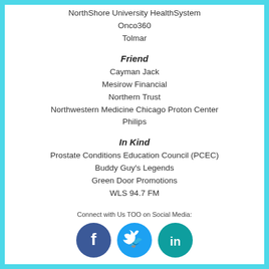NorthShore University HealthSystem
Onco360
Tolmar
Friend
Cayman Jack
Mesirow Financial
Northern Trust
Northwestern Medicine Chicago Proton Center
Philips
In Kind
Prostate Conditions Education Council (PCEC)
Buddy Guy's Legends
Green Door Promotions
WLS 94.7 FM
Connect with Us TOO on Social Media:
[Figure (illustration): Three social media icons: Facebook (dark blue circle with f), Twitter (cyan circle with bird), LinkedIn (teal circle with in)]